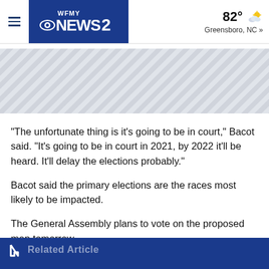WFMY NEWS 2 — 82° Greensboro, NC »
[Figure (other): Ad banner with diagonal stripe pattern]
"The unfortunate thing is it's going to be in court," Bacot said. "It's going to be in court in 2021, by 2022 it'll be heard. It'll delay the elections probably."
Bacot said the primary elections are the races most likely to be impacted.
The General Assembly plans to vote on the proposed map tomorrow.
Related Articles